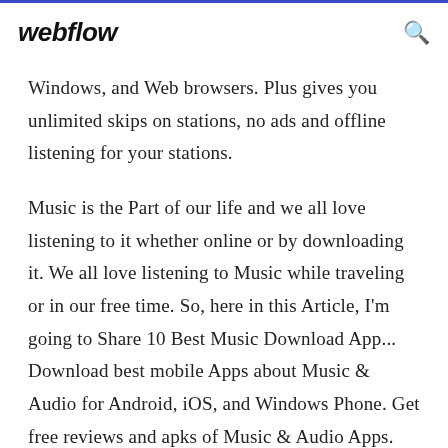webflow
Windows, and Web browsers. Plus gives you unlimited skips on stations, no ads and offline listening for your stations.
Music is the Part of our life and we all love listening to it whether online or by downloading it. We all love listening to Music while traveling or in our free time. So, here in this Article, I'm going to Share 10 Best Music Download App... Download best mobile Apps about Music & Audio for Android, iOS, and Windows Phone. Get free reviews and apks of Music & Audio Apps. Songs App for Android to stream free music and audio. Here are the best